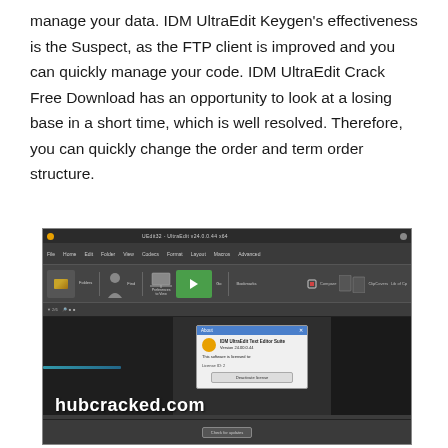manage your data. IDM UltraEdit Keygen's effectiveness is the Suspect, as the FTP client is improved and you can quickly manage your code. IDM UltraEdit Crack Free Download has an opportunity to look at a losing base in a short time, which is well resolved. Therefore, you can quickly change the order and term order structure.
[Figure (screenshot): Screenshot of IDM UltraEdit software interface showing the application window with dark theme, toolbar, ribbon, and an About dialog box. A watermark 'hubcracked.com' appears at the bottom of the screenshot.]